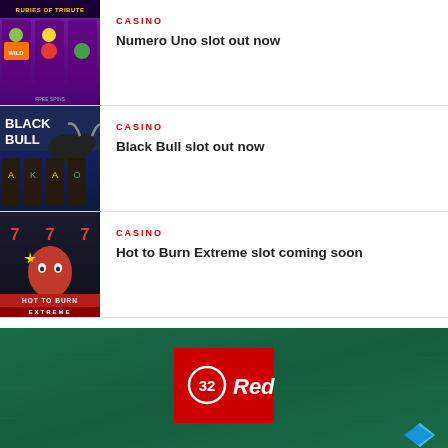[Figure (screenshot): Rubies of Tribute slot game screenshot thumbnail]
CASINO
Numero Uno slot out now
[Figure (screenshot): Black Bull slot game screenshot thumbnail]
CASINO
Black Bull slot out now
[Figure (screenshot): Hot to Burn Extreme slot game screenshot thumbnail]
CASINO
Hot to Burn Extreme slot coming soon
[Figure (photo): 32Red casino banner on green felt background]